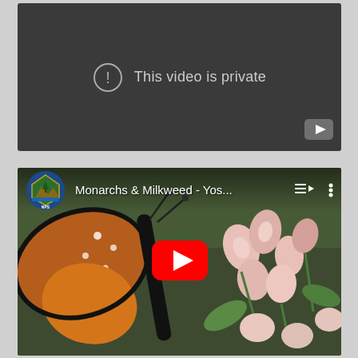[Figure (screenshot): YouTube video player showing 'This video is private' message with an exclamation icon on dark background, YouTube logo in bottom right corner]
[Figure (screenshot): YouTube video thumbnail for 'Monarchs & Milkweed - Yos...' showing a monarch butterfly on milkweed flowers, with NPS (National Park Service) badge/logo, playlist and more options icons, and a red YouTube play button in the center]